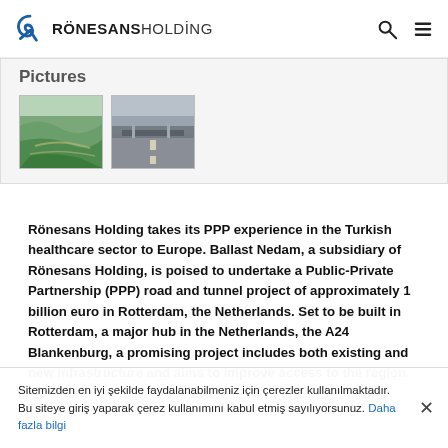Rönesans Holding
Pictures
[Figure (photo): Two thumbnails: left shows an aerial view of green rolling landscape with road infrastructure; right shows a road/tunnel construction project with grey overcast sky.]
Rönesans Holding takes its PPP experience in the Turkish healthcare sector to Europe. Ballast Nedam, a subsidiary of Rönesans Holding, is poised to undertake a Public-Private Partnership (PPP) road and tunnel project of approximately 1 billion euro in Rotterdam, the Netherlands. Set to be built in Rotterdam, a major hub in the Netherlands, the A24 Blankenburg, a promising project includes both existing and new infrastructure and aims to improve access to the region.
Sitemizden en iyi şekilde faydalanabilmeniz için çerezler kullanılmaktadır. Bu siteye giriş yaparak çerez kullanımını kabul etmiş sayılıyorsunuz. Daha fazla bilgi